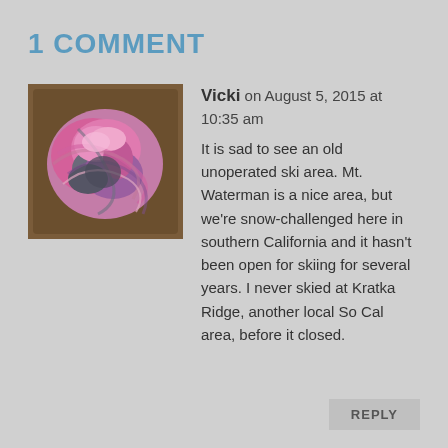1 COMMENT
[Figure (photo): A skein of colorful yarn with pink, purple, and gray tones, photographed on a wooden surface.]
Vicki on August 5, 2015 at 10:35 am

It is sad to see an old unoperated ski area. Mt. Waterman is a nice area, but we're snow-challenged here in southern California and it hasn't been open for skiing for several years. I never skied at Kratka Ridge, another local So Cal area, before it closed.
REPLY